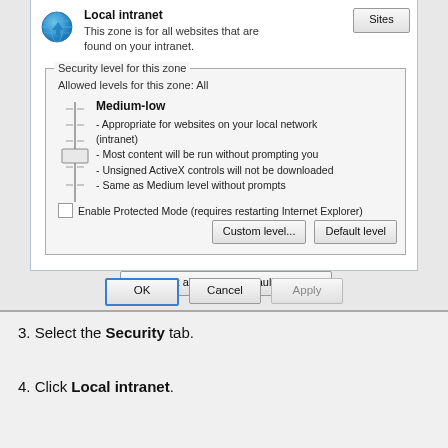[Figure (screenshot): Windows Internet Explorer Internet Options dialog showing Local intranet zone security settings. The dialog shows a globe icon, 'Local intranet' zone title, 'This zone is for all websites that are found on your intranet.' description, a Sites button, a Security level section with slider set to Medium-low, bullet points describing the level, Enable Protected Mode checkbox (unchecked), Custom level and Default level buttons, Reset all zones to default level button, and OK/Cancel/Apply buttons.]
3. Select the Security tab.
4. Click Local intranet.